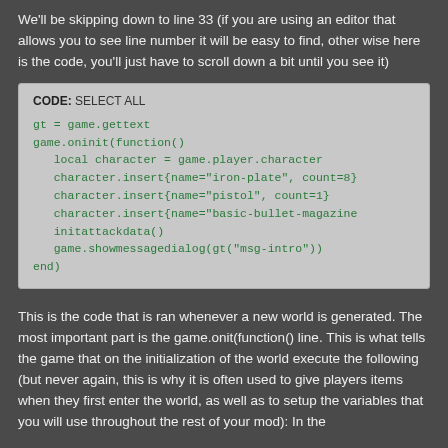We'll be skipping down to line 33 (if you are using an editor that allows you to see line number it will be easy to find, other wise here is the code, you'll just have to scroll down a bit until you see it)
CODE: SELECT ALL
gt = game.gettext
game.oninit(function()
   local character = game.player.character
   character.insert{name="iron-plate", count=8}
   character.insert{name="pistol", count=1}
   character.insert{name="basic-bullet-magazine
   initattackdata()
   game.showmessagedialog(gt("msg-intro"))
end)
This is the code that is ran whenever a new world is generated. The most important part is the game.onit(function() line. This is what tells the game that on the initialization of the world execute the following (but never again, this is why it is often used to give players items when they first enter the world, as well as to setup the variables that you will use throughout the rest of your mod): In the